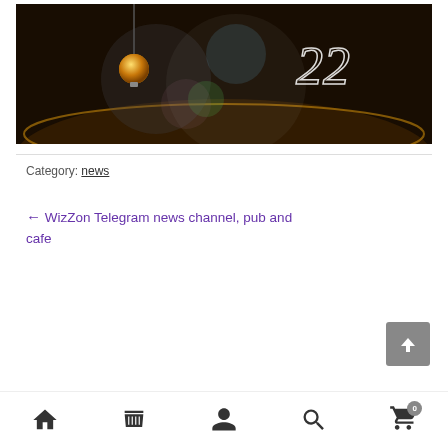[Figure (photo): Dark atmospheric image with a hanging golden light bulb on the left and blurred colorful bokeh lights in the center. A stylized number '22' in white script is visible in the upper right area.]
Category: news
← WizZon Telegram news channel, pub and cafe
[Figure (other): Back-to-top button: grey square with white upward chevron arrow]
[Figure (other): Bottom navigation bar with home, shop, user, search, and cart (0) icons]